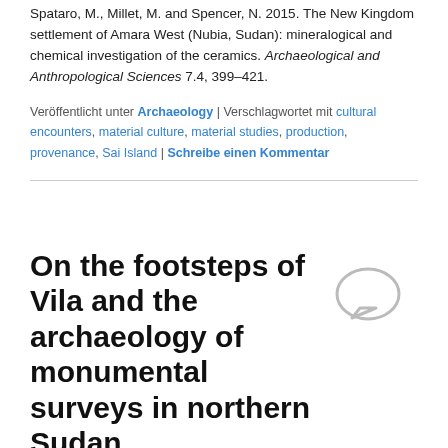Spataro, M., Millet, M. and Spencer, N. 2015. The New Kingdom settlement of Amara West (Nubia, Sudan): mineralogical and chemical investigation of the ceramics. Archaeological and Anthropological Sciences 7.4, 399–421.
Veröffentlicht unter Archaeology | Verschlagwortet mit cultural encounters, material culture, material studies, production, provenance, Sai Island | Schreibe einen Kommentar
On the footsteps of Vila and the archaeology of monumental surveys in northern Sudan
Veröffentlicht am 16. Dezember 2020 von Rennan Lemos
Every archaeologist knows that what we write about the